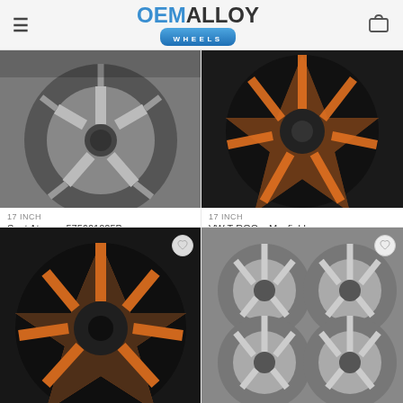OEM ALLOY WHEELS - navigation header with logo
[Figure (photo): Silver alloy wheel - Seat Ateca 17 inch]
17 INCH
Seat Ateca – 575601025B
£149.00
[Figure (photo): Orange and black alloy wheel - VW T-ROC 17 inch]
17 INCH
VW T-ROC – Mayfield 2GA601025B 2GA601025P 2GA601025N 2GA601025K
£159.00
[Figure (photo): Orange and black alloy wheel - bottom left product]
[Figure (photo): Silver alloy wheels set - bottom right product]